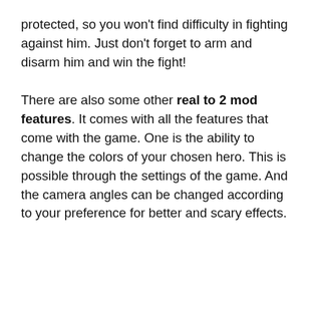protected, so you won't find difficulty in fighting against him. Just don't forget to arm and disarm him and win the fight!
There are also some other real to 2 mod features. It comes with all the features that come with the game. One is the ability to change the colors of your chosen hero. This is possible through the settings of the game. And the camera angles can be changed according to your preference for better and scary effects.